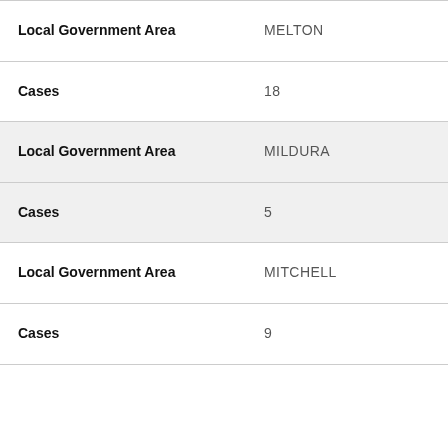| Field | Value |
| --- | --- |
| Local Government Area | MELTON |
| Cases | 18 |
| Local Government Area | MILDURA |
| Cases | 5 |
| Local Government Area | MITCHELL |
| Cases | 9 |